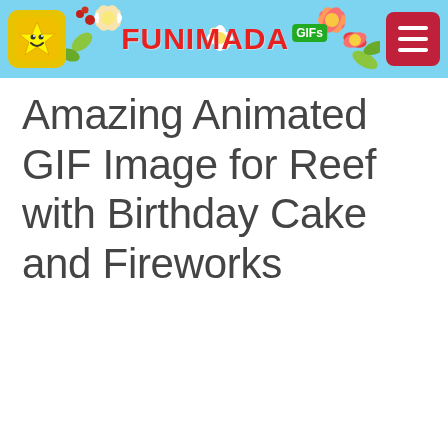FUNIMADA GIFs
Amazing Animated GIF Image for Reef with Birthday Cake and Fireworks